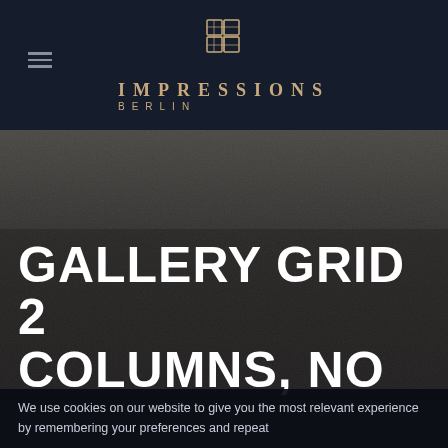[Figure (logo): Impressions Berlin logo with geometric diamond-pattern icon above the brand name in gold]
IMPRESSIONS BERLIN
[Figure (photo): Dark, muted hero image with blurry textured background in dark gray/brown tones]
GALLERY GRID 2 COLUMNS, NO
We use cookies on our website to give you the most relevant experience by remembering your preferences and repeat